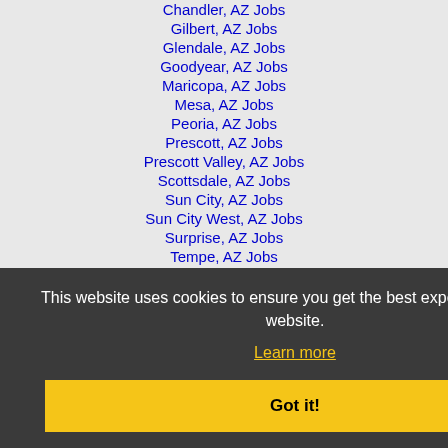Chandler, AZ Jobs
Gilbert, AZ Jobs
Glendale, AZ Jobs
Goodyear, AZ Jobs
Maricopa, AZ Jobs
Mesa, AZ Jobs
Peoria, AZ Jobs
Prescott, AZ Jobs
Prescott Valley, AZ Jobs
Scottsdale, AZ Jobs
Sun City, AZ Jobs
Sun City West, AZ Jobs
Surprise, AZ Jobs
Tempe, AZ Jobs
This website uses cookies to ensure you get the best experience on our website.
Learn more
Got it!
Home   Profile and Resume   Browse Jobs   Employers   Other Cities   Clients List   About Us   Contact Us   Help